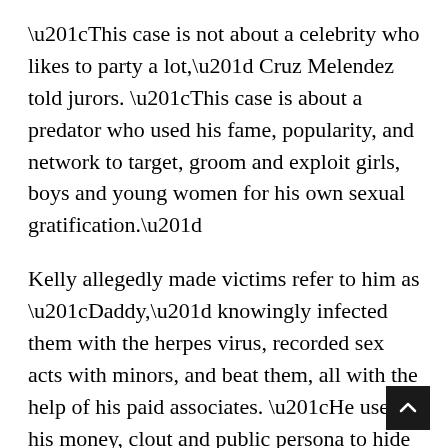“This case is not about a celebrity who likes to party a lot,” Cruz Melendez told jurors. “This case is about a predator who used his fame, popularity, and network to target, groom and exploit girls, boys and young women for his own sexual gratification.”
Kelly allegedly made victims refer to him as “Daddy,” knowingly infected them with the herpes virus, recorded sex acts with minors, and beat them, all with the help of his paid associates. “He used his money, clout and public persona to hide his crimes in plain sight,” she added.
One of the bombshell allegations against the “I Believe I Can Fly” singer regarded his relations